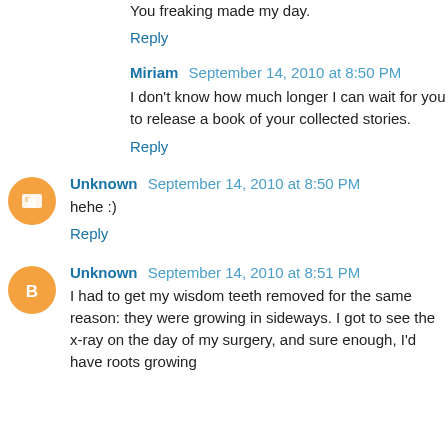You freaking made my day.
Reply
Miriam  September 14, 2010 at 8:50 PM
I don't know how much longer I can wait for you to release a book of your collected stories.
Reply
Unknown  September 14, 2010 at 8:50 PM
hehe :)
Reply
Unknown  September 14, 2010 at 8:51 PM
I had to get my wisdom teeth removed for the same reason: they were growing in sideways. I got to see the x-ray on the day of my surgery, and sure enough, I'd have roots growing